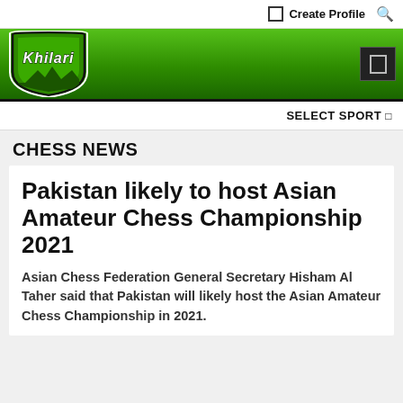Create Profile
[Figure (logo): Khilari website logo — green shield with white cursive 'Khilari' text on a green gradient header bar]
SELECT SPORT
CHESS NEWS
Pakistan likely to host Asian Amateur Chess Championship 2021
Asian Chess Federation General Secretary Hisham Al Taher said that Pakistan will likely host the Asian Amateur Chess Championship in 2021.